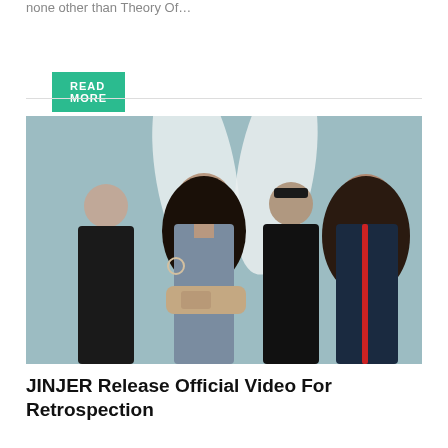none other than Theory Of…
READ MORE
[Figure (photo): Band photo of JINJER — four members posing against a grey textured wall with large white wing-like shapes. A woman with long dark hair in a grey long-sleeve top stands in the center front with arms crossed. Three men stand behind her: one bald on the left, one with sunglasses in the center-back, and one with long curly hair on the right wearing a dark blue shirt with red suspenders.]
JINJER Release Official Video For Retrospection